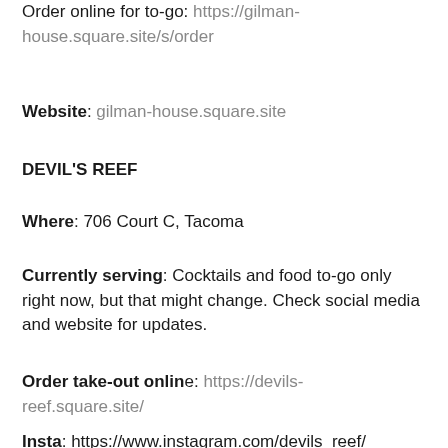Order online for to-go: https://gilman-house.square.site/s/order
Website: gilman-house.square.site
DEVIL'S REEF
Where: 706 Court C, Tacoma
Currently serving: Cocktails and food to-go only right now, but that might change. Check social media and website for updates.
Order take-out online: https://devils-reef.square.site/
Insta: https://www.instagram.com/devils_reef/